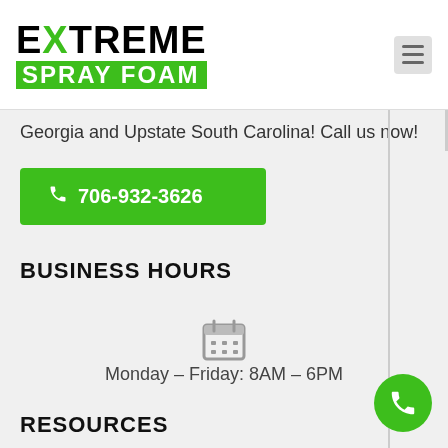[Figure (logo): Extreme Spray Foam logo with black bold text and green X and green background for SPRAY FOAM]
Georgia and Upstate South Carolina! Call us now!
706-932-3626
BUSINESS HOURS
[Figure (illustration): Calendar icon in gray]
Monday – Friday: 8AM – 6PM
RESOURCES
[Figure (illustration): Link/chain icon in gray]
[Figure (illustration): Green circular call/phone floating action button]